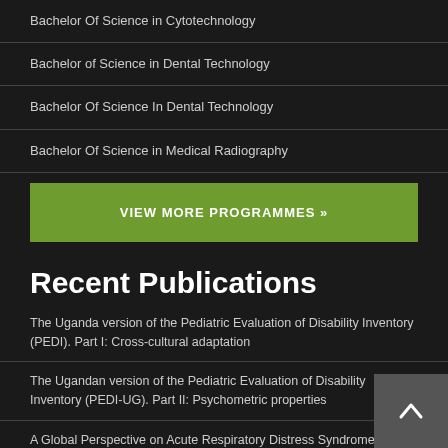Bachelor Of Science in Cytotechnology
Bachelor of Science in Dental Technology
Bachelor Of Science In Dental Technology
Bachelor Of Science in Medical Radiography
VIEW MORE PROGRAMMES »
Recent Publications
The Uganda version of the Pediatric Evaluation of Disability Inventory (PEDI). Part I: Cross-cultural adaptation
The Ugandan version of the Pediatric Evaluation of Disability Inventory (PEDI-UG). Part II: Psychometric properties
A Global Perspective on Acute Respiratory Distress Syndrome and the Truth about Hypoxia in Resource-limited Settings